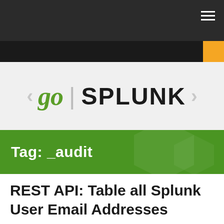go | SPLUNK
Tag: _audit
REST API: Table all Splunk User Email Addresses